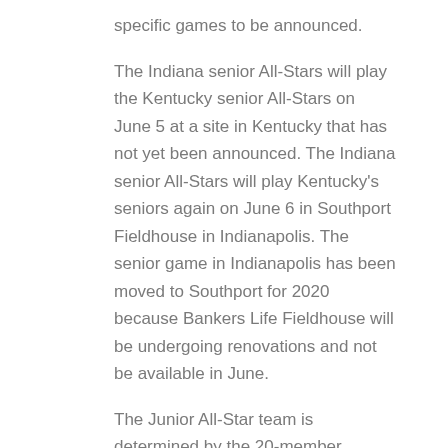specific games to be announced.
The Indiana senior All-Stars will play the Kentucky senior All-Stars on June 5 at a site in Kentucky that has not yet been announced. The Indiana senior All-Stars will play Kentucky's seniors again on June 6 in Southport Fieldhouse in Indianapolis. The senior game in Indianapolis has been moved to Southport for 2020 because Bankers Life Fieldhouse will be undergoing renovations and not be available in June.
The Junior All-Star team is determined by the 20-member Indiana Basketball Coaches Association all-state panel in conjunction with its selection of the IBCA/Subway Underclass All-State Team. The selection process allows all IBCA-member head coaches to nominate players through the IBCA all-state process.